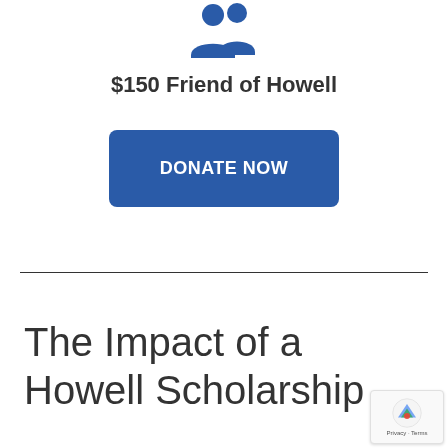[Figure (illustration): Blue people/group icon showing two figures, indicating a community or friends group]
$150 Friend of Howell
[Figure (other): Blue 'DONATE NOW' button]
The Impact of a Howell Scholarship